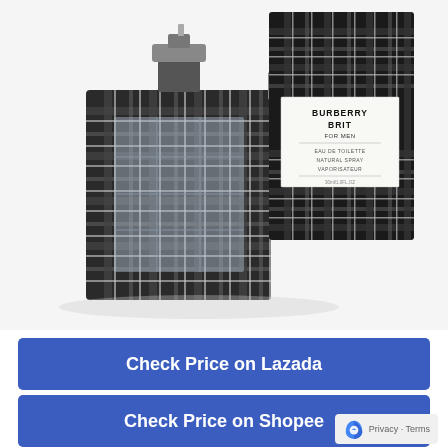[Figure (photo): Burberry Brit for Men fragrance bottle and box. The bottle has a tartan/plaid pattern in dark grey and black with white lines, with a chrome spray top. The box is dark tartan with a white label showing 'BURBERRY BRIT FOR MEN EAU DE TOILETTE NATURAL SPRAY VAPORISATEUR'.]
Check Price on Lazada
Check Price on Shopee
Privacy · Terms